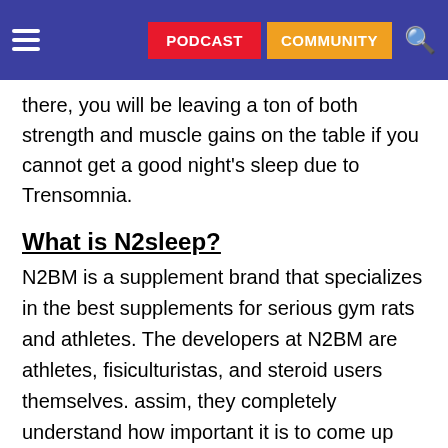PODCAST | COMMUNITY
there, you will be leaving a ton of both strength and muscle gains on the table if you cannot get a good night's sleep due to Trensomnia.
What is N2sleep?
N2BM is a supplement brand that specializes in the best supplements for serious gym rats and athletes. The developers at N2BM are athletes, fisiculturistas, and steroid users themselves. assim, they completely understand how important it is to come up with a product that will help with Trensomnia. A decade ago, they developed a product called N2sleep, which can be used before bedtime, on cycle, to help you fall asleep, stay